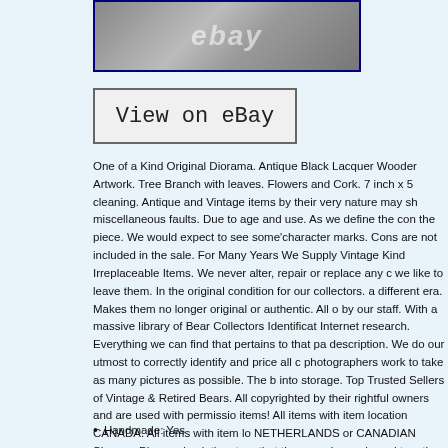[Figure (photo): Photo of antique item with eBay watermark, framed with navy border]
[Figure (screenshot): View on eBay button with border]
One of a Kind Original Diorama. Antique Black Lacquer Wooden Artwork. Tree Branch with leaves. Flowers and Cork. 7 inch x 5 cleaning. Antique and Vintage items by their very nature may sh miscellaneous faults. Due to age and use. As we define the con the piece. We would expect to see some'character marks. Cons are not included in the sale. For Many Years We Supply Vintage Kind Irreplaceable Items. We never alter, repair or replace any we like to leave them. In the original condition for our collectors. a different era. Makes them no longer original or authentic. All o by our staff. With a massive library of Bear Collectors Identificat Internet research. Everything we can find that pertains to that p description. We do our utmost to correctly identify and price all photographers work to take as many pictures as possible. The b into storage. Top Trusted Sellers of Vintage & Retired Bears. All copyrighted by their rightful owners and are used with permissio items! All items with item location CANADA. All items with item l NETHERLANDS or CANADIAN Shoppe. Please check the store that they may be packaged together. “Blessed shall be thy bask Txzj pxzj2510 txzj1 txzj71. The item “Antique Chinese Wood Ca Case Cranes” is in sale since Wednesday, December 30, 2020. “Collectibles\Cultures & Ethnicities\Asian\1900-Now\Chinese\Ot “jadeesantiques” and is located in Campbellville, Ontario. This it
Handmade: Yes